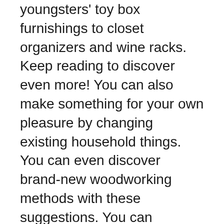youngsters' toy box furnishings to closet organizers and wine racks. Keep reading to discover even more! You can also make something for your own pleasure by changing existing household things. You can even discover brand-new woodworking methods with these suggestions. You can additionally create something special for your house to show off your abilities and also talent.
Easy woodworking tasks
If you're a beginner, one of the easiest woodworking tasks for you to take on is building a planter box. You'll require a tablesaw, some scrap lumber, as well as a easy collection of instructions to make this